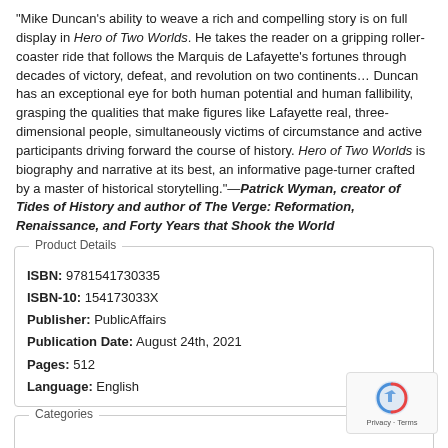"Mike Duncan's ability to weave a rich and compelling story is on full display in Hero of Two Worlds. He takes the reader on a gripping roller-coaster ride that follows the Marquis de Lafayette's fortunes through decades of victory, defeat, and revolution on two continents… Duncan has an exceptional eye for both human potential and human fallibility, grasping the qualities that make figures like Lafayette real, three-dimensional people, simultaneously victims of circumstance and active participants driving forward the course of history. Hero of Two Worlds is biography and narrative at its best, an informative page-turner crafted by a master of historical storytelling."—Patrick Wyman, creator of Tides of History and author of The Verge: Reformation, Renaissance, and Forty Years that Shook the World
| Field | Value |
| --- | --- |
| ISBN: | 9781541730335 |
| ISBN-10: | 154173033X |
| Publisher: | PublicAffairs |
| Publication Date: | August 24th, 2021 |
| Pages: | 512 |
| Language: | English |
Categories